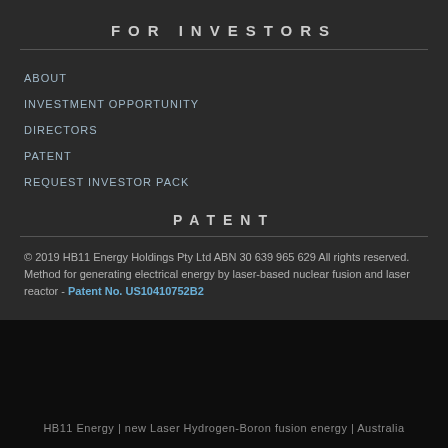FOR INVESTORS
ABOUT
INVESTMENT OPPORTUNITY
DIRECTORS
PATENT
REQUEST INVESTOR PACK
PATENT
© 2019 HB11 Energy Holdings Pty Ltd ABN 30 639 965 629 All rights reserved. Method for generating electrical energy by laser-based nuclear fusion and laser reactor - Patent No. US10410752B2
HB11 Energy | new Laser Hydrogen-Boron fusion energy | Australia